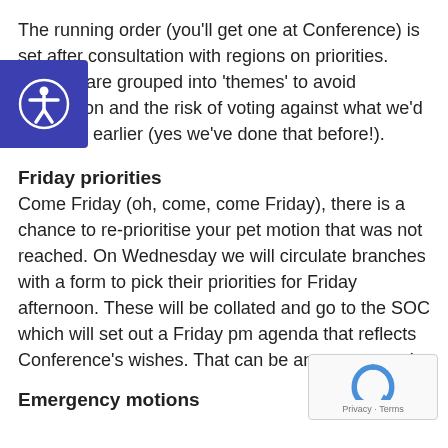The running order (you'll get one at Conference) is set after consultation with regions on priorities. Motions are grouped into 'themes' to avoid duplication and the risk of voting against what we'd voted for earlier (yes we've done that before!).
Friday priorities
Come Friday (oh, come, come Friday), there is a chance to re-prioritise your pet motion that was not reached. On Wednesday we will circulate branches with a form to pick their priorities for Friday afternoon. These will be collated and go to the SOC which will set out a Friday pm agenda that reflects Conference's wishes. That can be an eye-opener!
Emergency motions